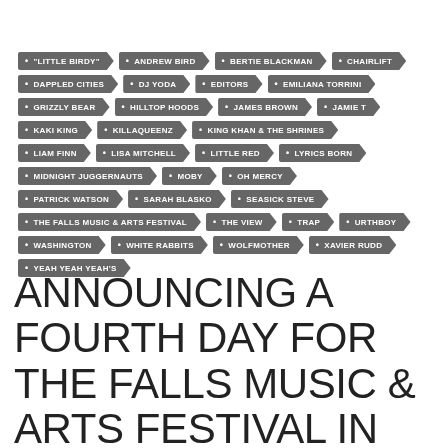"LITTLE BIRDY"
ANDREW BIRD
BERTIE BLACKMAN
CHAIRLIFT
DAPPLED CITIES
DJ YODA
EDITORS
EMILIANA TORRINI
GRIZZLY BEAR
HILLTOP HOODS
JAMES BROWN
JAMIE T
KAKI KING
KILLAQUEENZ
KING KHAN & THE SHRINES
LIAM FINN
LISA MITCHELL
LITTLE RED
LYRICS BORN
MIDNIGHT JUGGERNAUTS
MOBY
OH MERCY
PATRICK WATSON
SARAH BLASKO
SEASICK STEVE
THE FALLS MUSIC & ARTS FESTIVAL
THE VIEW
TRAP
URTHBOY
WASHINGTON
WHITE RABBITS
WOLFMOTHER
XAVIER RUDD
YEAH YEAH YEAH'S
ANNOUNCING A FOURTH DAY FOR THE FALLS MUSIC & ARTS FESTIVAL IN LORNE, VIC. THE FALLS FUNK 'N'